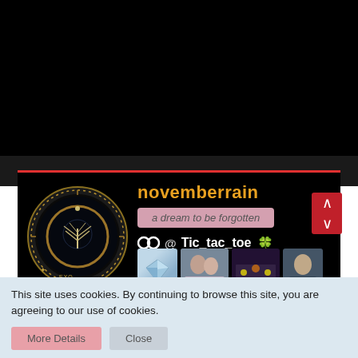[Figure (screenshot): Black header area of a website]
[Figure (illustration): User profile section with Lord of the Rings inspired circular avatar, username 'novemberrain' in orange, tagline 'a dream to be forgotten' in pink box, handle @Tic_tac_toe with clover icon, thumbnail images including diamond, people, concert, and portrait photos, and red scroll buttons]
This site uses cookies. By continuing to browse this site, you are agreeing to our use of cookies.
More Details   Close